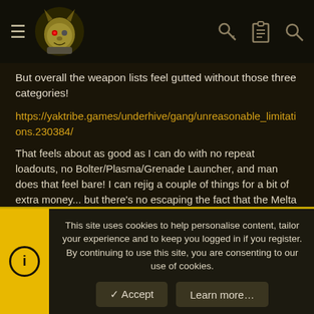[Navigation header with hamburger menu, logo, key icon, clipboard icon, search icon]
But overall the weapon lists feel gutted without those three categories!
https://yaktribe.games/underhive/gang/unreasonable_limitations.230384/
That feels about as good as I can do with no repeat loadouts, no Bolter/Plasma/Grenade Launcher, and man does that feel bare! I can rejig a couple of things for a bit of extra money... but there's no escaping the fact that the Melta and the Chem Thrower cost more than all of the 'Big Three' combined, with enough left to chuck another Bolter in! I think I might be able to do some damage with clever use of tactics cards like Chemical Reign and Running Battle to surprise people with the Chem Thrower, but this feels like it's going to be a really... interesting challenge.
This site uses cookies to help personalise content, tailor your experience and to keep you logged in if you register.
By continuing to use this site, you are consenting to our use of cookies.
✓ Accept
Learn more…